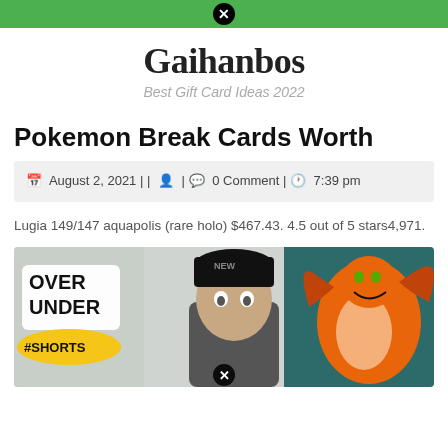Gaihanbos — Best Gift Card Ideas 2022
Pokemon Break Cards Worth
August 2, 2021 | | 👤 | 💬 0 Comment | 🕐 7:39 pm
Lugia 149/147 aquapolis (rare holo) $467.43. 4.5 out of 5 stars4,971.
[Figure (photo): YouTube thumbnail showing a man in a black beanie hat with 'OVER UNDER #SHORTS' text overlay and a Charizard Pokemon card image on the right side]